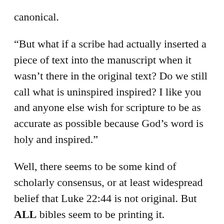canonical.
“But what if a scribe had actually inserted a piece of text into the manuscript when it wasn’t there in the original text? Do we still call what is uninspired inspired? I like you and anyone else wish for scripture to be as accurate as possible because God’s word is holy and inspired.”
Well, there seems to be some kind of scholarly consensus, or at least widespread belief that Luke 22:44 is not original. But ALL bibles seem to be printing it.
I think, Orthodox would tend to see